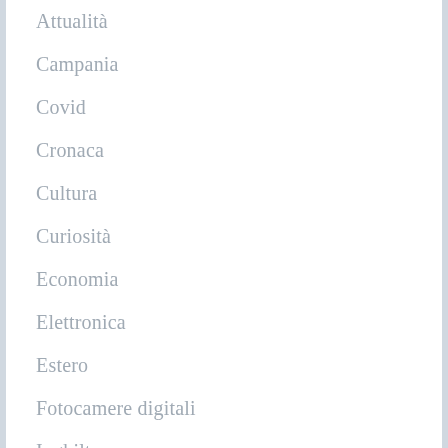Attualità
Campania
Covid
Cronaca
Cultura
Curiosità
Economia
Elettronica
Estero
Fotocamere digitali
Inghilterra
News
Politica
Shopping